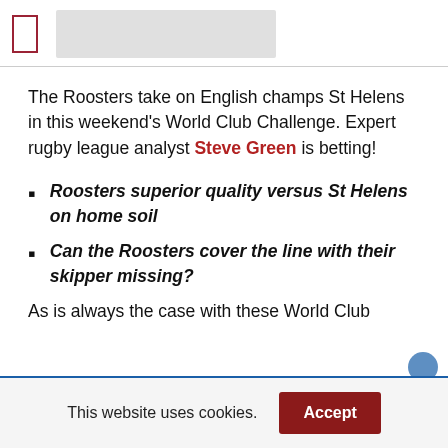The Roosters take on English champs St Helens in this weekend's World Club Challenge. Expert rugby league analyst Steve Green is betting!
Roosters superior quality versus St Helens on home soil
Can the Roosters cover the line with their skipper missing?
As is always the case with these World Club
This website uses cookies.